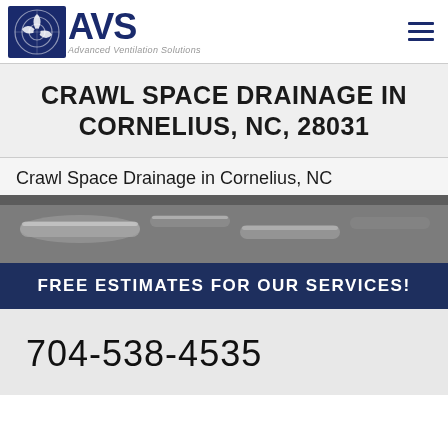AVS Advanced Ventilation Solutions
CRAWL SPACE DRAINAGE IN CORNELIUS, NC, 28031
Crawl Space Drainage in Cornelius, NC
[Figure (photo): Crawl space with pipes and drainage infrastructure visible]
FREE ESTIMATES FOR OUR SERVICES!
704-538-4535